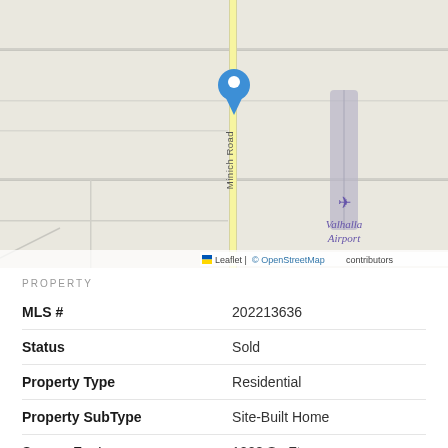[Figure (map): Street map showing a location pin (blue marker) on a road labeled 'Minich Road' (vertical yellow road), with 'Valhalla Airport' labeled to the right with runway and airplane icon. Attribution: Leaflet | © OpenStreetMap contributors.]
PROPERTY
| MLS # | 202213636 |
| Status | Sold |
| Property Type | Residential |
| Property SubType | Site-Built Home |
| Square Feet | 1008 Sq Ft |
| New Construction | No |